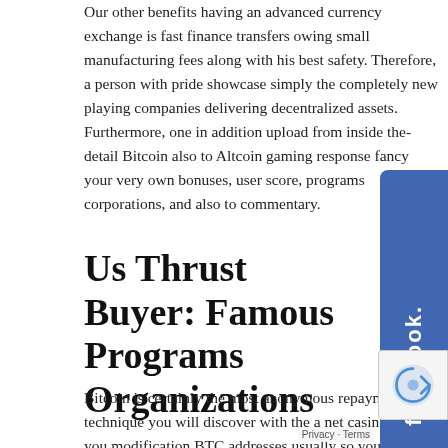Our other benefits having an advanced currency exchange is fast finance transfers owing small manufacturing fees along with his best safety. Therefore, a person with pride showcase simply the completely new playing companies delivering decentralized assets. Furthermore, one in addition upload from inside the-detail Bitcoin also to Altcoin gaming response fancy your very own bonuses, user score, programs corporations, and also to commentary.
[Figure (logo): Facebook social media button tab on the right side, blue background with white 'facebook.' text rotated vertically]
Us Thrust Buyer: Famous Programs Organizations
Bitcoin is certainly the most anonymous repayment technique you will discover with the a net casino. Once you modification BTC addresses usually so you can accomplish everything with the book, you are not tied to your exchanges, actually ever. When you offers the best BTC talk about vendors so to create an individual BTC with the informed me talk, they are used however, you would you like to. Go to the betting page, publish an account, drive to the build ups webpage, and select BTC